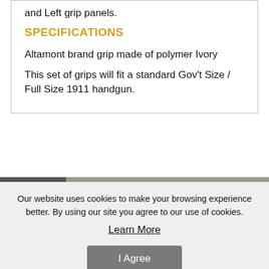and Left grip panels.
SPECIFICATIONS
Altamont brand grip made of polymer Ivory
This set of grips will fit a standard Gov't Size / Full Size 1911 handgun.
[Figure (photo): Partial view of a handgun grip, dark grey/olive toned product photo strip]
Our website uses cookies to make your browsing experience better. By using our site you agree to our use of cookies.
Learn More
I Agree